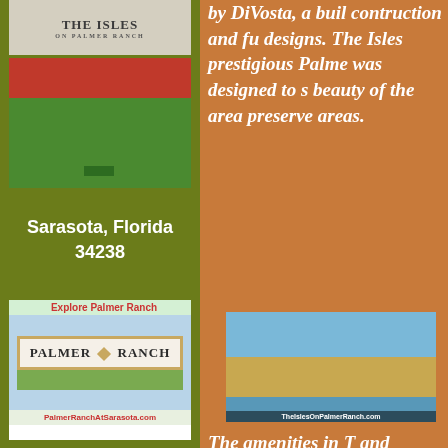[Figure (photo): The Isles on Palmer Ranch sign — stone sign with text]
[Figure (photo): Garden area with red flowers and green lawn with bench]
Sarasota, Florida
34238
[Figure (photo): Palmer Ranch entrance sign with text 'Explore Palmer Ranch' and URL PalmerRanchAtSarasota.com]
by DiVosta, a builder known for quality contruction and functional and attractive designs. The Isles on Palmer Ranch is in prestigious Palmer Ranch community, and was designed to showcase the natural beauty of the area, including lakes and preserve areas.
[Figure (photo): Community view of The Isles on Palmer Ranch showing buildings, palm trees, and waterway. URL: TheIslesOnPalmerRanch.com]
The amenities in T and include an 11, Center that incl